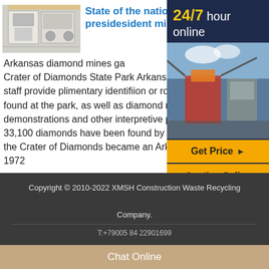[Figure (photo): Industrial mining/crushing machine equipment, white machinery]
State of the nations addreess by presidesident mills ...
Arkansas diamond mines ga... Crater of Diamonds State Park Arkansas State staff provide plimentary identifiion or rocks and found at the park, as well as diamond mining demonstrations and other interpretive programs. 33,100 diamonds have been found by park visit... the Crater of Diamonds became an Arkansas st... 1972
Get Price
[Figure (infographic): Sidebar advertisement: 24/7 hour online, photo of industrial crusher, Get Price button, Quoting Online button]
Copyright © 2010-2022 XMSH Construction Waste Recycling Company.
T:+79005 84 22901699
Chat Online